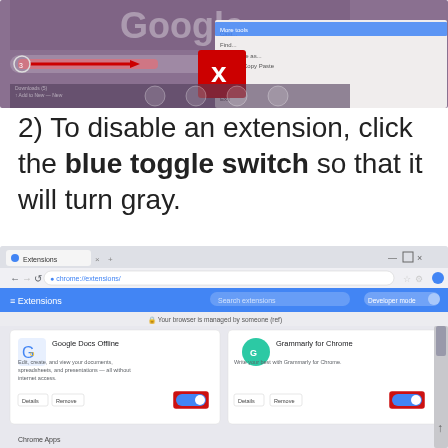[Figure (screenshot): Screenshot of a Chrome browser with extensions menu open, showing a red X button overlay]
2) To disable an extension, click the blue toggle switch so that it will turn gray.
[Figure (screenshot): Screenshot of Chrome Extensions page showing Google Docs Offline and Grammarly for Chrome extensions with blue toggle switches highlighted in red boxes]